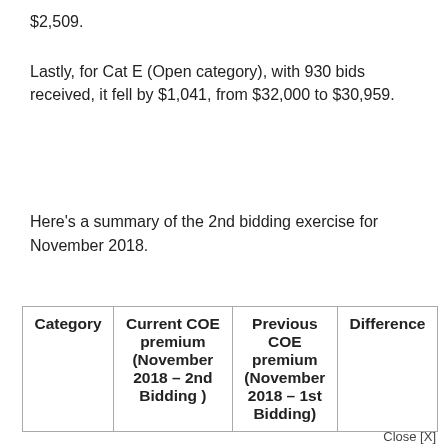$2,509.
Lastly, for Cat E (Open category), with 930 bids received, it fell by $1,041, from $32,000 to $30,959.
Here’s a summary of the 2nd bidding exercise for November 2018.
| Category | Current COE premium (November 2018 – 2nd Bidding ) | Previous COE premium (November 2018 – 1st Bidding) | Difference |
| --- | --- | --- | --- |